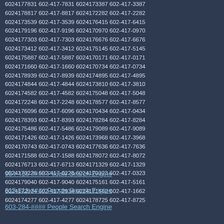6024177831 602-417-7831 6024173387 602-417-3387
6024178817 602-417-8817 6024172282 602-417-2282
6024173539 602-417-3539 6024176415 602-417-6415
6024179196 602-417-9196 6024170970 602-417-0970
6024177303 602-417-7303 6024176676 602-417-6676
6024173412 602-417-3412 6024175145 602-417-5145
6024175887 602-417-5887 6024170171 602-417-0171
6024171660 602-417-1660 6024170734 602-417-0734
6024178939 602-417-8939 6024174895 602-417-4895
6024174844 602-417-4844 6024173810 602-417-3810
6024174582 602-417-4582 6024175048 602-417-5048
6024172248 602-417-2248 6024178577 602-417-8577
6024176096 602-417-6096 6024170434 602-417-0434
6024178393 602-417-8393 6024178284 602-417-8284
6024175486 602-417-5486 6024179089 602-417-9089
6024171426 602-417-1426 6024173968 602-417-3968
6024170743 602-417-0743 6024177636 602-417-7636
6024171588 602-417-1588 6024178072 602-417-8072
6024176713 602-417-6713 6024171329 602-417-1329
6024170228 602-417-0228 6024170323 602-417-0323
6024179040 602-417-9040 6024175161 602-417-5161
6024172934 602-417-2934 6024171662 602-417-1662
6024174277 602-417-4277 6024178725 602-417-8725
954-416-#### People Search Engine
813-811-#### People Search Engine
603-284-#### People Search Engine